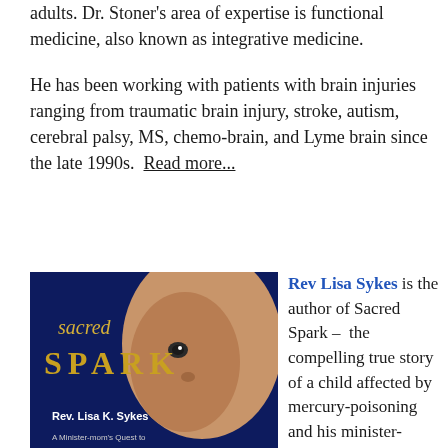adults. Dr. Stoner's area of expertise is functional medicine, also known as integrative medicine.
He has been working with patients with brain injuries ranging from traumatic brain injury, stroke, autism, cerebral palsy, MS, chemo-brain, and Lyme brain since the late 1990s.  Read more...
[Figure (photo): Book cover of 'Sacred Spark' by Rev. Lisa K. Sykes. Dark blue background with a close-up of a baby's face looking upward. Title 'sacred SPARK' in gold letters. Subtitle 'A Minister-mom's Quest to...' at bottom.]
Rev Lisa Sykes is the author of Sacred Spark – the compelling true story of a child affected by mercury-poisoning and his minister-mother's